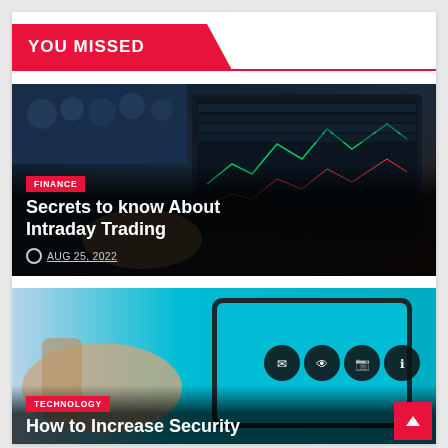YOU MISSED
[Figure (photo): Person using laptop with trading charts/financial data on screen, dark background with crowd visible]
FINANCE
Secrets to know About Intraday Trading
AUG 25, 2022
[Figure (photo): Person touching a tablet screen with cyan/turquoise background and social media icons]
TECHNOLOGY
How to Increase Security